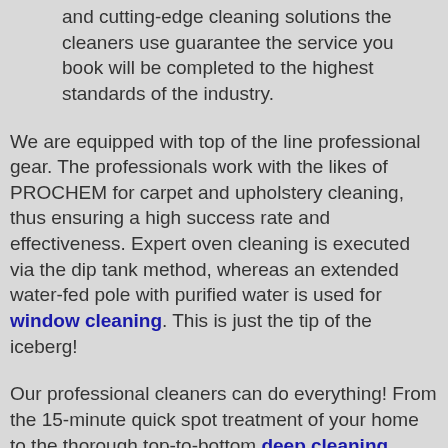and cutting-edge cleaning solutions the cleaners use guarantee the service you book will be completed to the highest standards of the industry.
We are equipped with top of the line professional gear. The professionals work with the likes of PROCHEM for carpet and upholstery cleaning, thus ensuring a high success rate and effectiveness. Expert oven cleaning is executed via the dip tank method, whereas an extended water-fed pole with purified water is used for window cleaning. This is just the tip of the iceberg!
Our professional cleaners can do everything! From the 15-minute quick spot treatment of your home to the thorough top-to-bottom deep cleaning services for